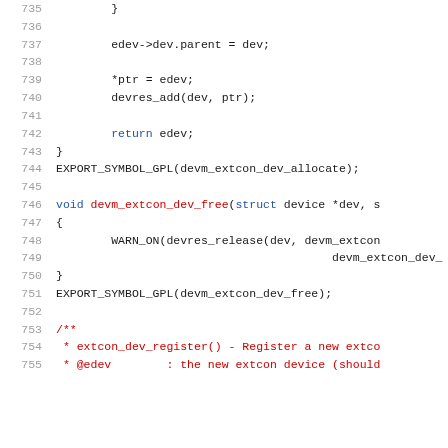Source code listing, lines 735–755, showing C kernel code for devm_extcon_dev_allocate and devm_extcon_dev_free functions